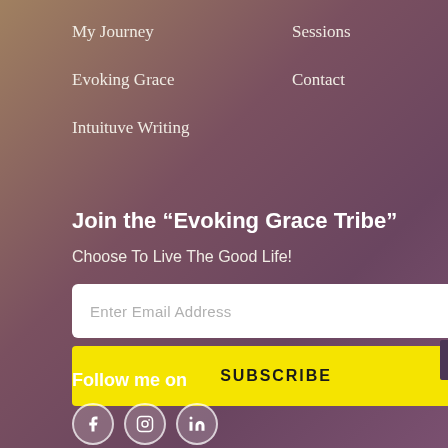My Journey
Sessions
Evoking Grace
Contact
Intuituve Writing
Join the “Evoking Grace Tribe”
Choose To Live The Good Life!
Enter Email Address
SUBSCRIBE
Follow me on